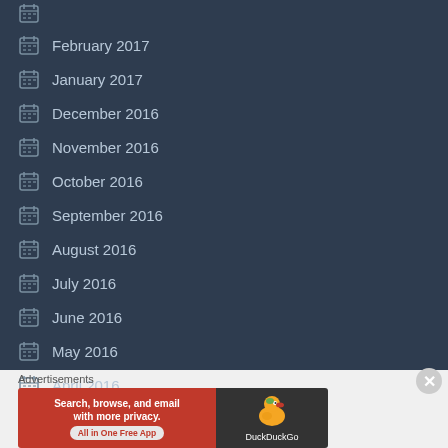February 2017
January 2017
December 2016
November 2016
October 2016
September 2016
August 2016
July 2016
June 2016
May 2016
April 2016
[Figure (screenshot): DuckDuckGo advertisement banner: Search, browse, and email with more privacy. All in One Free App]